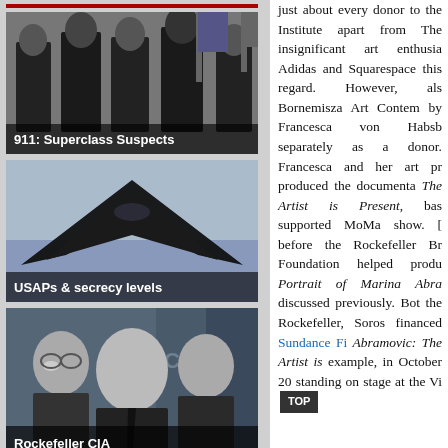[Figure (photo): Black and white photo of suited men, possibly politicians or officials, with flags in background. Caption: 911: Superclass Suspects]
[Figure (photo): Photo of a stealth aircraft (F-117 or similar) against sky. Caption: USAPs & secrecy levels]
[Figure (photo): Black and white photo of three men in suits associated with Rockefeller CIA. Caption: Rockefeller CIA]
just about every donor to the Institute apart from The insignificant art enthusiasts. Adidas and Squarespace are in this regard. However, also Bornemisza Art Contemporary by Francesca von Habsburg separately as a donor. Francesca and her art pr produced the documenta The Artist is Present, bas supported MoMa show. [ before the Rockefeller Bro Foundation helped produ Portrait of Marina Abra discussed previously. Bot the Rockefeller, Soros financed Sundance Fi Abramovic: The Artist is example, in October 20 standing on stage at the Vi